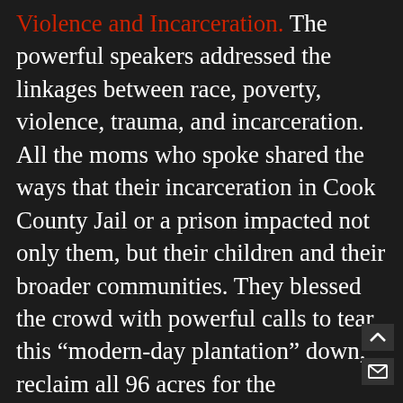Violence and Incarceration. The powerful speakers addressed the linkages between race, poverty, violence, trauma, and incarceration. All the moms who spoke shared the ways that their incarceration in Cook County Jail or a prison impacted not only them, but their children and their broader communities. They blessed the crowd with powerful calls to tear this “modern-day plantation” down, reclaim all 96 acres for the community, and reinvest these millions of dollars we spend on cages into our neighborhoods. Let’s #EndMoneyBail & #FreeOurMoms!